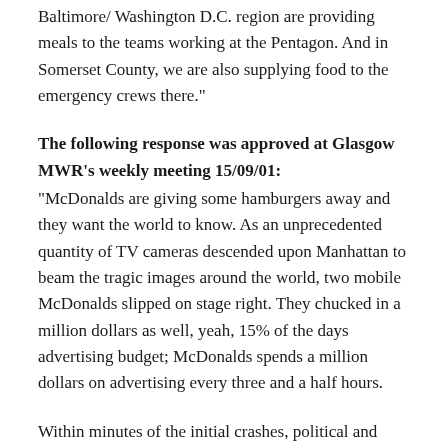Baltimore/ Washington D.C. region are providing meals to the teams working at the Pentagon. And in Somerset County, we are also supplying food to the emergency crews there."
The following response was approved at Glasgow MWR's weekly meeting 15/09/01:
"McDonalds are giving some hamburgers away and they want the world to know. As an unprecedented quantity of TV cameras descended upon Manhattan to beam the tragic images around the world, two mobile McDonalds slipped on stage right. They chucked in a million dollars as well, yeah, 15% of the days advertising budget; McDonalds spends a million dollars on advertising every three and a half hours.
Within minutes of the initial crashes, political and corporate leaders were seeking to use the tragic